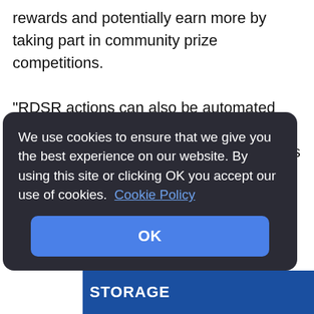rewards and potentially earn more by taking part in community prize competitions.
"RDSR actions can also be automated using our app by connecting IoT devices such as smart plugs and smart appliances to our platform and allowing us to automatically manage these smart devices on behalf of the user".
We use cookies to ensure that we give you the best experience on our website. By using this site or clicking OK you accept our use of cookies. Cookie Policy
OK
STORAGE